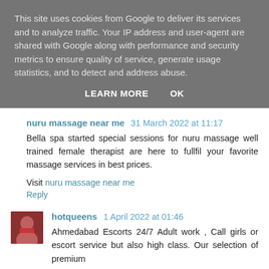This site uses cookies from Google to deliver its services and to analyze traffic. Your IP address and user-agent are shared with Google along with performance and security metrics to ensure quality of service, generate usage statistics, and to detect and address abuse.
LEARN MORE   OK
nuru massage near me  31 March 2022 at 11:17
Bella spa started special sessions for nuru massage well trained female therapist are here to fullfil your favorite massage services in best prices.
Visit nuru massage near me
Reply
hotqueens  1 April 2022 at 01:46
Ahmedabad Escorts 24/7 Adult work , Call girls or escort service but also high class. Our selection of premium